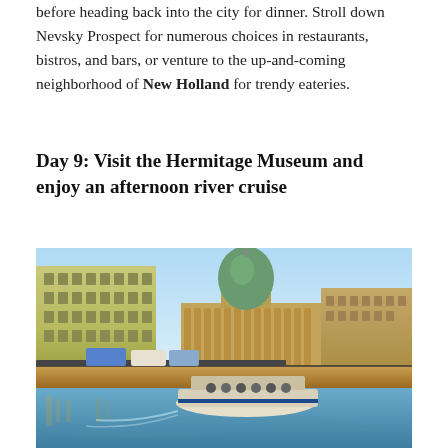before heading back into the city for dinner. Stroll down Nevsky Prospect for numerous choices in restaurants, bistros, and bars, or venture to the up-and-coming neighborhood of New Holland for trendy eateries.
Day 9: Visit the Hermitage Museum and enjoy an afternoon river cruise
[Figure (photo): A river cruise boat on a canal in St. Petersburg, Russia, with the Kazan Cathedral dome visible in the background. Colorful neoclassical buildings line the embankment on the left, and tourists are seated on the open-air boat in the foreground.]